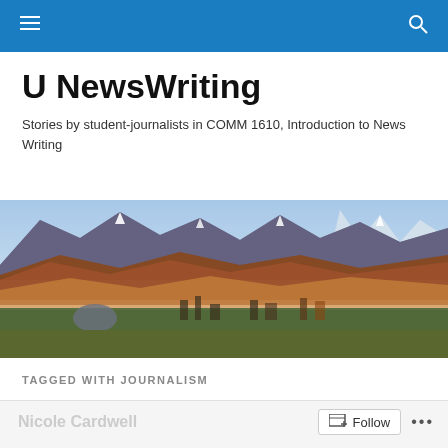U NewsWriting — navigation bar with menu and search icons
U NewsWriting
Stories by student-journalists in COMM 1610, Introduction to News Writing
[Figure (photo): Panoramic landscape photo of the Salt Lake City area with the Wasatch Mountain Range in the background, showing reddish-brown foothills with snow-capped peaks and a city skyline in the foreground.]
TAGGED WITH JOURNALISM
Nicole Cardwell  Follow  ...